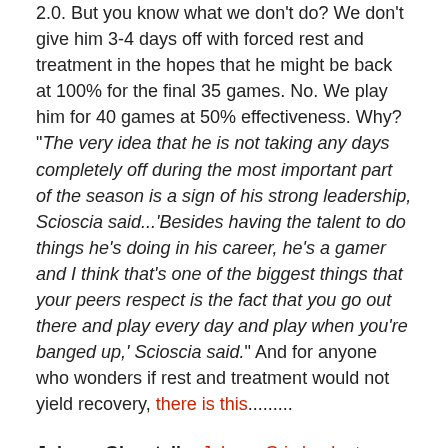2.0. But you know what we don't do? We don't give him 3-4 days off with forced rest and treatment in the hopes that he might be back at 100% for the final 35 games. No. We play him for 40 games at 50% effectiveness. Why? "The very idea that he is not taking any days completely off during the most important part of the season is a sign of his strong leadership, Scioscia said...'Besides having the talent to do things he's doing in his career, he's a gamer and I think that's one of the biggest things that your peers respect is the fact that you go out there and play every day and play when you're banged up,' Scioscia said." And for anyone who wonders if rest and treatment would not yield recovery, there is this.........
Johnny Giavotella: Johnny G is back at practice. The Taylor Featherston era nears an end? Oh hell no.